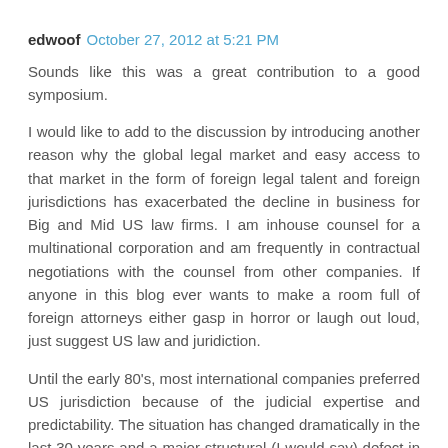edwoof  October 27, 2012 at 5:21 PM
Sounds like this was a great contribution to a good symposium.
I would like to add to the discussion by introducing another reason why the global legal market and easy access to that market in the form of foreign legal talent and foreign jurisdictions has exacerbated the decline in business for Big and Mid US law firms. I am inhouse counsel for a multinational corporation and am frequently in contractual negotiations with the counsel from other companies. If anyone in this blog ever wants to make a room full of foreign attorneys either gasp in horror or laugh out loud, just suggest US law and juridiction.
Until the early 80's, most international companies preferred US jurisdiction because of the judicial expertise and predictability. The situation has changed dramatically in the last 30 years and a major structural (I would say) defect in the US court system has been exposed.